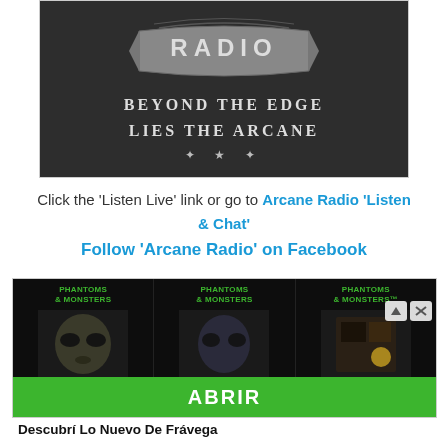[Figure (illustration): Arcane Radio logo on dark background with ribbon banner reading RADIO, tagline BEYOND THE EDGE LIES THE ARCANE, and decorative star divider]
Click the 'Listen Live' link or go to Arcane Radio 'Listen & Chat'
Follow 'Arcane Radio' on Facebook
[Figure (screenshot): Phantoms & Monsters advertisement showing three panels with alien/creature imagery and a green ABRIR button]
Descubrí Lo Nuevo De Frávega